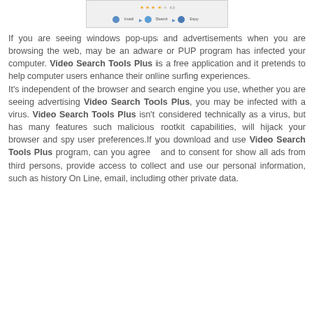[Figure (screenshot): A screenshot showing a software installer UI with star rating and three steps: Install, Search, Enjoy]
If you are seeing windows pop-ups and advertisements when you are browsing the web, may be an adware or PUP program has infected your computer. Video Search Tools Plus is a free application and it pretends to help computer users enhance their online surfing experiences.
It's independent of the browser and search engine you use, whether you are seeing advertising Video Search Tools Plus, you may be infected with a virus. Video Search Tools Plus isn't considered technically as a virus, but has many features such malicious rootkit capabilities, will hijack your browser and spy user preferences.If you download and use Video Search Tools Plus program, can you agree  and to consent for show all ads from third persons, provide access to collect and use our personal information, such as history On Line, email, including other private data.